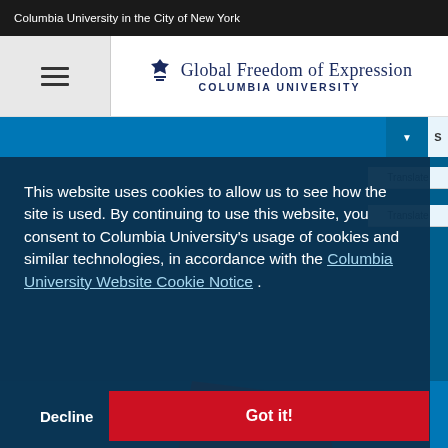Columbia University in the City of New York
[Figure (logo): Global Freedom of Expression Columbia University logo with crown icon]
This website uses cookies to allow us to see how the site is used. By continuing to use this website, you consent to Columbia University's usage of cookies and similar technologies, in accordance with the Columbia University Website Cookie Notice .
Decline
Got it!